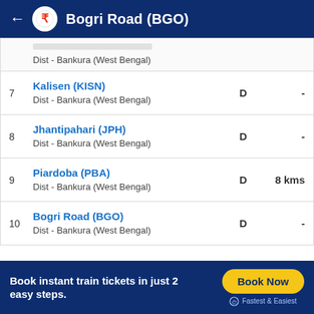Bogri Road (BGO)
| # | Station | D | Distance |
| --- | --- | --- | --- |
|  | Dist - Bankura (West Bengal) |  |  |
| 7 | Kalisen (KISN)
Dist - Bankura (West Bengal) | D | - |
| 8 | Jhantipahari (JPH)
Dist - Bankura (West Bengal) | D | - |
| 9 | Piardoba (PBA)
Dist - Bankura (West Bengal) | D | 8 kms |
| 10 | Bogri Road (BGO)
Dist - Bankura (West Bengal) | D | - |
Book instant train tickets in just 2 easy steps.